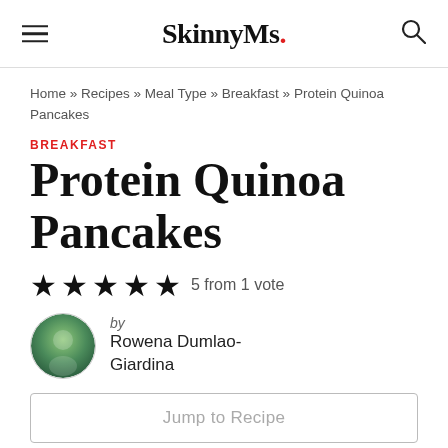SkinnyMs.
Home » Recipes » Meal Type » Breakfast » Protein Quinoa Pancakes
BREAKFAST
Protein Quinoa Pancakes
5 from 1 vote
by Rowena Dumlao-Giardina
Jump to Recipe
18k Shares